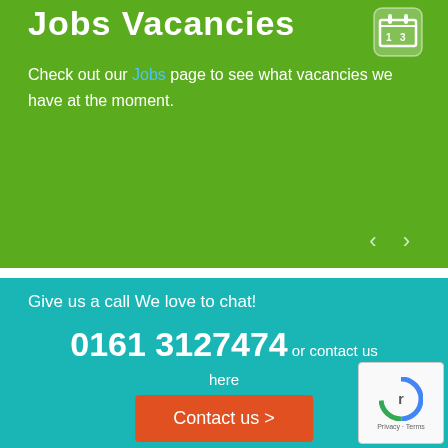Jobs Vacancies
Check out our Jobs page to see what vacancies we have at the moment.
[Figure (screenshot): Navigation arrow icons (left < and right >) on the green banner]
Give us a call We love to chat!
0161 3127474 or contact us here
Contact us >